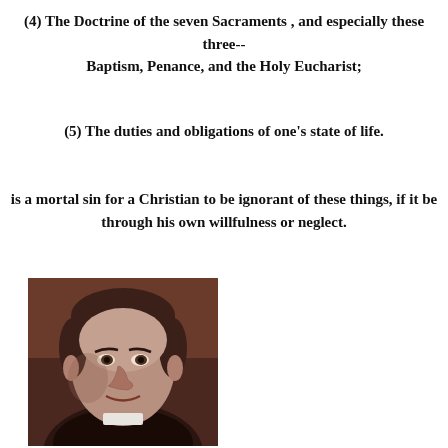(4) The Doctrine of the seven Sacraments , and especially these three-- Baptism, Penance, and the Holy Eucharist;
(5) The duties and obligations of one's state of life.
is a mortal sin for a Christian to be ignorant of these things, if it be through his own willfulness or neglect.
[Figure (photo): Black and white portrait photograph of a man, appears to be a clergyman or priest, facing slightly to the right, with a serious expression.]